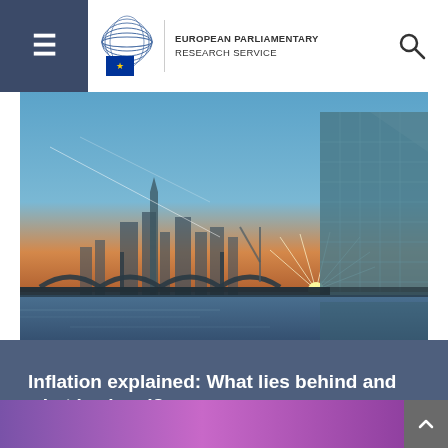European Parliamentary Research Service
[Figure (photo): Aerial/ground-level photograph of the European Central Bank building in Frankfurt at sunset/dusk, with city skyline and bridge over the Main river in the background.]
Inflation explained: What lies behind and what is ahead?